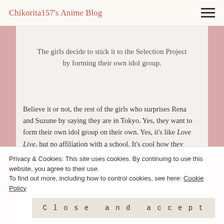Chikorita157's Anime Blog
The girls decide to stick it to the Selection Project by forming their own idol group.
Believe it or not, the rest of the girls who surprises Rena and Suzune by saying they are in Tokyo. Yes, they want to form their own idol group on their own. Yes, it's like Love Live, but no affiliation with a school. It's cool how they come
Privacy & Cookies: This site uses cookies. By continuing to use this website, you agree to their use.
To find out more, including how to control cookies, see here: Cookie Policy
Close and accept